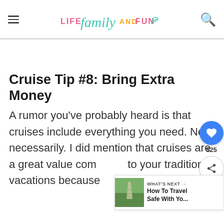LIFE family AND FUN
Cruise Tip #8: Bring Extra Money
A rumor you've probably heard is that cruises include everything you need. Not necessarily. I did mention that cruises are a great value compared to your traditional vacations because